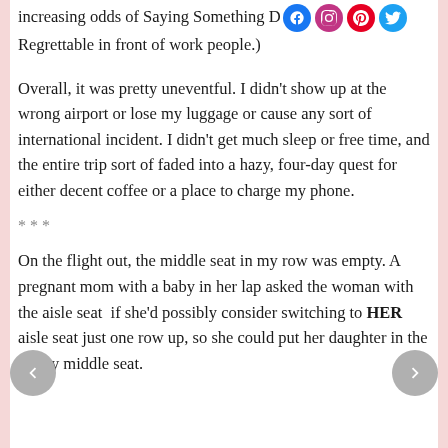increasing odds of Saying Something Dreadful [social icons] Regrettable in front of work people.)
Overall, it was pretty uneventful. I didn’t show up at the wrong airport or lose my luggage or cause any sort of international incident. I didn’t get much sleep or free time, and the entire trip sort of faded into a hazy, four-day quest for either decent coffee or a place to charge my phone.
***
On the flight out, the middle seat in my row was empty. A pregnant mom with a baby in her lap asked the woman with the aisle seat  if she’d possibly consider switching to HER aisle seat just one row up, so she could put her daughter in the empty middle seat.